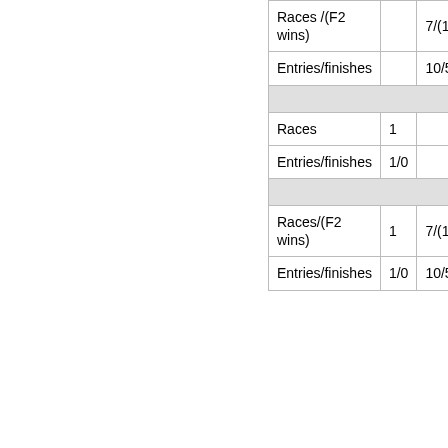|  |  |  |
| --- | --- | --- |
| Races /(F2 wins) |  | 7/(1) |
| Entries/finishes |  | 10/5 |
| [section divider] |  |  |
| Races | 1 |  |
| Entries/finishes | 1/0 |  |
| [section divider] |  |  |
| Races/(F2 wins) | 1 | 7/(1) |
| Entries/finishes | 1/0 | 10/5 |
Races
Works team:
works: Nissan Motorsports Europe (1996)
works1: Nissan F2 (1994-95)
| 1993 | 1994 | 1995 |
| --- | --- | --- |
| 1996 | 1997 | 1998 |